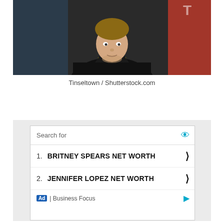[Figure (photo): A person wearing a black jacket over a yellow-collared shirt, photographed at what appears to be a media event with a red background element visible on the right side.]
Tinseltown / Shutterstock.com
[Figure (screenshot): An advertisement unit with a search interface. Shows 'Search for' header with an eye icon, then two results: 1. BRITNEY SPEARS NET WORTH with a chevron, 2. JENNIFER LOPEZ NET WORTH with a chevron. Footer shows 'Ad | Business Focus' with a play icon.]